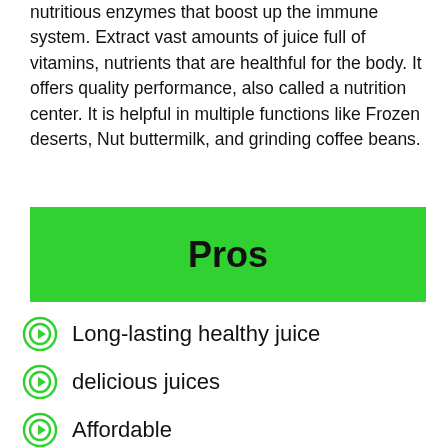nutritious enzymes that boost up the immune system. Extract vast amounts of juice full of vitamins, nutrients that are healthful for the body. It offers quality performance, also called a nutrition center. It is helpful in multiple functions like Frozen deserts, Nut buttermilk, and grinding coffee beans.
Pros
Long-lasting healthy juice
delicious juices
Affordable